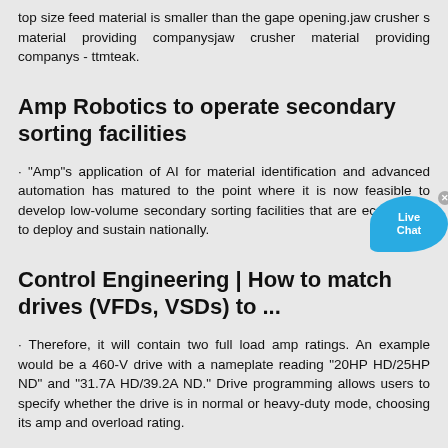top size feed material is smaller than the gape opening.jaw crusher s material providing companysjaw crusher material providing companys - ttmteak.
Amp Robotics to operate secondary sorting facilities
· "Amp"s application of AI for material identification and advanced automation has matured to the point where it is now feasible to develop low-volume secondary sorting facilities that are economical to deploy and sustain nationally.
Control Engineering | How to match drives (VFDs, VSDs) to ...
· Therefore, it will contain two full load amp ratings. An example would be a 460-V drive with a nameplate reading "20HP HD/25HP ND" and "31.7A HD/39.2A ND." Drive programming allows users to specify whether the drive is in normal or heavy-duty mode, choosing its amp and overload rating.